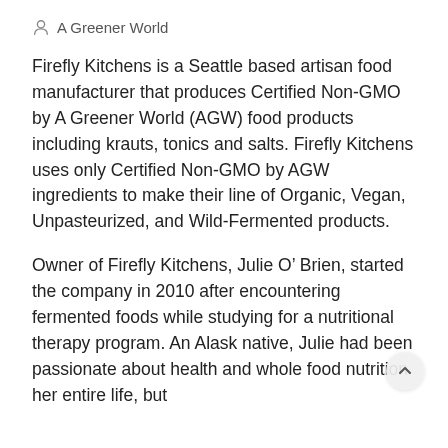A Greener World
Firefly Kitchens is a Seattle based artisan food manufacturer that produces Certified Non-GMO by A Greener World (AGW) food products including krauts, tonics and salts. Firefly Kitchens uses only Certified Non-GMO by AGW ingredients to make their line of Organic, Vegan, Unpasteurized, and Wild-Fermented products.
Owner of Firefly Kitchens, Julie O’ Brien, started the company in 2010 after encountering fermented foods while studying for a nutritional therapy program. An Alask native, Julie had been passionate about health and whole food nutrition her entire life, but